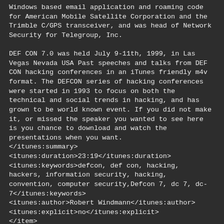Windows based email application and roaming code for American Mobile Satellite Corporation and the Trimble C/GPS transceiver, and was head of Network Security for Telegroup, Inc.
DEF CON 7.0 was held July 9-11th, 1999, in Las Vegas Nevada USA Past speeches and talks from DEF CON hacking conferences in an iTunes friendly m4v format. The DEFCON series of hacking conferences were started in 1993 to focus on both the technical and social trends in hacking, and has grown to be world known event. If you did not make it, or missed the speaker you wanted to see here is you chance to download and watch the presentations when you want.
</itunes:summary>
<itunes:duration>23:19</itunes:duration>
<itunes:keywords>defcon, def con, hacking, hackers, information security, hacking, convention, computer security,Defcon 7, dc 7, dc-7</itunes:keywords>
<itunes:author>Robert Windmann</itunes:author>
<itunes:explicit>no</itunes:explicit>
</item>
<item>
<title>Rooster - Insecurities in Networking Devices</title>
<description>Routers and switches. These devices make up the core of what is networking. Devastatingly important, this infrastructure is key to a properly working environment. Amazingly, many administrators don't know the weaknesses and holes that are being exposed to the Internet. This talk will discuss the most common security issues in routers and switches, how they can be exploited, what a person gains from this, and how to prevent people from gaining access to your network equipment.&lt;br /&gt;